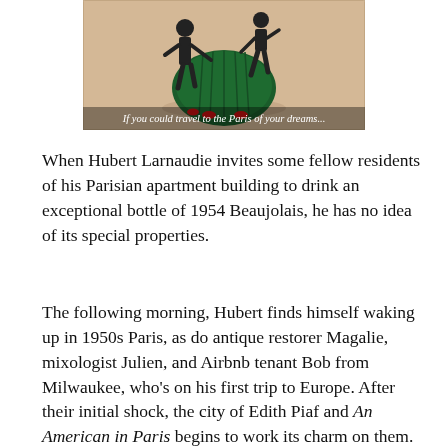[Figure (illustration): Illustration of figures dancing or interacting with a large green dress/skirt, on a beige background. Caption text at bottom reads: If you could travel to the Paris of your dreams...]
When Hubert Larnaudie invites some fellow residents of his Parisian apartment building to drink an exceptional bottle of 1954 Beaujolais, he has no idea of its special properties.
The following morning, Hubert finds himself waking up in 1950s Paris, as do antique restorer Magalie, mixologist Julien, and Airbnb tenant Bob from Milwaukee, who's on his first trip to Europe. After their initial shock, the city of Edith Piaf and An American in Paris begins to work its charm on them. The four delight in